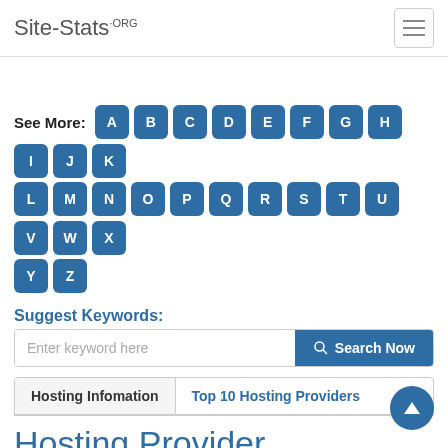Site-Stats.ORG
See More: A B C D E F G H I J K L M N O P Q R S T U V W X Y Z
Suggest Keywords:
Enter keyword here  Search Now
Hosting Infomation  |  Top 10 Hosting Providers
Hosting Provider
NetName: AT-88-Z
Organization: Amazon Technologies Inc.  See All  439,881+
Provider URL: Amazon.com